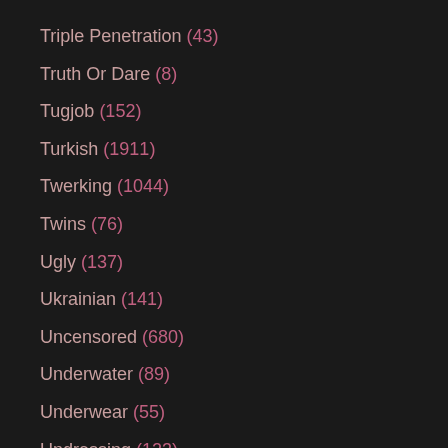Triple Penetration (43)
Truth Or Dare (8)
Tugjob (152)
Turkish (1911)
Twerking (1044)
Twins (76)
Ugly (137)
Ukrainian (141)
Uncensored (680)
Underwater (89)
Underwear (55)
Undressing (123)
Uniform (843)
University (39)
Unshaved (50)